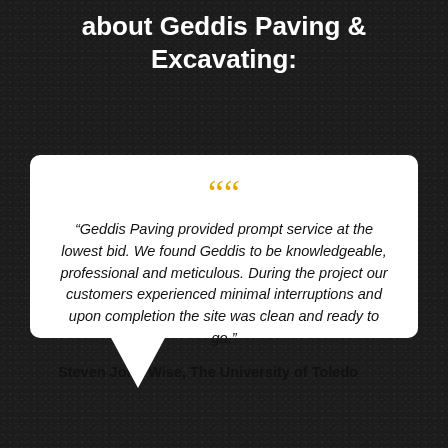about Geddis Paving & Excavating:
“Geddis Paving provided prompt service at the lowest bid. We found Geddis to be knowledgeable, professional and meticulous. During the project our customers experienced minimal interruptions and upon completion the site was clean and ready to go.”
Steven John Wise, The University of Toledo